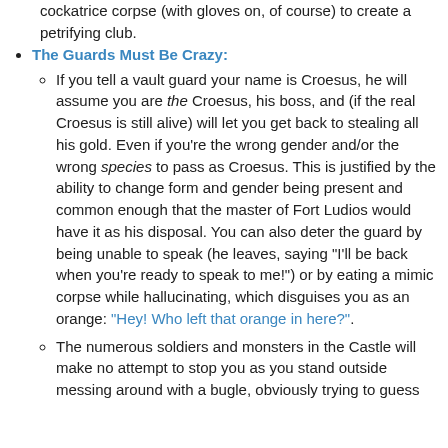cockatrice corpse (with gloves on, of course) to create a petrifying club.
The Guards Must Be Crazy:
If you tell a vault guard your name is Croesus, he will assume you are the Croesus, his boss, and (if the real Croesus is still alive) will let you get back to stealing all his gold. Even if you're the wrong gender and/or the wrong species to pass as Croesus. This is justified by the ability to change form and gender being present and common enough that the master of Fort Ludios would have it as his disposal. You can also deter the guard by being unable to speak (he leaves, saying "I'll be back when you're ready to speak to me!") or by eating a mimic corpse while hallucinating, which disguises you as an orange: "Hey! Who left that orange in here?".
The numerous soldiers and monsters in the Castle will make no attempt to stop you as you stand outside messing around with a bugle, obviously trying to guess